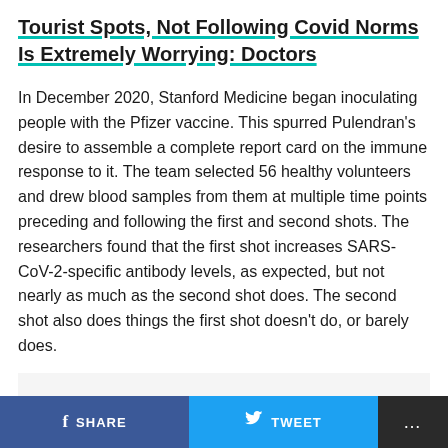Tourist Spots, Not Following Covid Norms Is Extremely Worrying: Doctors
In December 2020, Stanford Medicine began inoculating people with the Pfizer vaccine. This spurred Pulendran's desire to assemble a complete report card on the immune response to it. The team selected 56 healthy volunteers and drew blood samples from them at multiple time points preceding and following the first and second shots. The researchers found that the first shot increases SARS-CoV-2-specific antibody levels, as expected, but not nearly as much as the second shot does. The second shot also does things the first shot doesn't do, or barely does.
“The second shot has powerful beneficial effects that far exceed those
SHARE   TWEET   ...